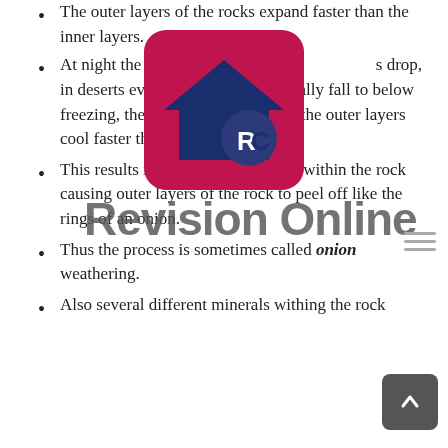The outer layers of the rocks expand faster than the inner layers.
At night the whole rock cools and temperatures drop, in deserts evening temperatures usually fall to below freezing, the rock contracts and again the outer layers cool faster than the inner layers.
This results in stresses being set up within the rock causing outer layers of the rock to peel off like the rings of an onion.
Thus the process is sometimes called onion weathering.
Also several different minerals withing the rock